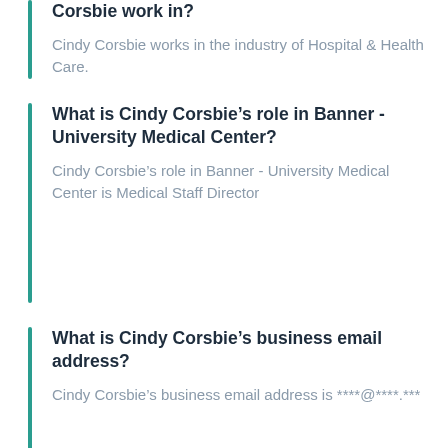Corsbie work in?
Cindy Corsbie works in the industry of Hospital & Health Care.
What is Cindy Corsbie’s role in Banner - University Medical Center?
Cindy Corsbie’s role in Banner - University Medical Center is Medical Staff Director
What is Cindy Corsbie’s business email address?
Cindy Corsbie’s business email address is ****@****.***